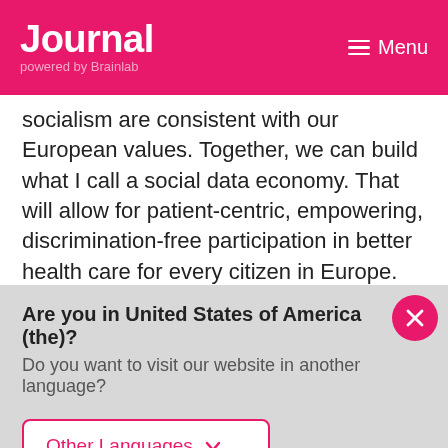Journal powered by Brainlab  Menu
socialism are consistent with our European values. Together, we can build what I call a social data economy. That will allow for patient-centric, empowering, discrimination-free participation in better health care for every citizen in Europe. The European Health Data Space
Are you in United States of America (the)?
Do you want to visit our website in another language?
Other Languages